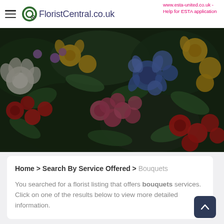FloristCentral.co.uk
www.esta-united.co.uk - Help for ESTA application
[Figure (photo): Full-width hero image of colorful flowers including red, pink, white, blue and yellow blooms with green foliage]
Home > Search By Service Offered > Bouquets
You searched for a florist listing that offers bouquets services. Click on one of the results below to view more detailed information.